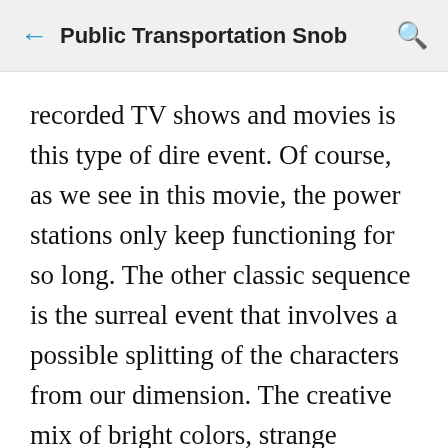Public Transportation Snob
recorded TV shows and movies is this type of dire event. Of course, as we see in this movie, the power stations only keep functioning for so long. The other classic sequence is the surreal event that involves a possible splitting of the characters from our dimension. The creative mix of bright colors, strange gravitational forces, and other mysterious images are the most haunting images from the movie.
This story contains statements against humans meddling with scientific forces we don't